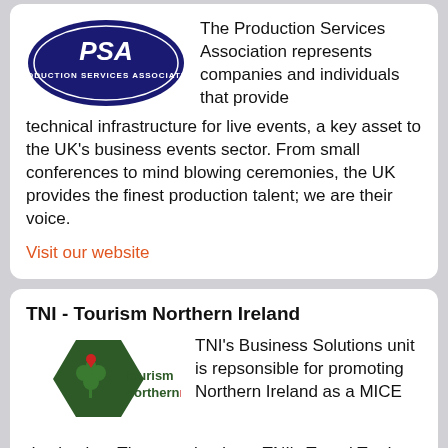[Figure (logo): PSA Production Services Association oval logo with white text on dark blue background]
The Production Services Association represents companies and individuals that provide technical infrastructure for live events, a key asset to the UK's business events sector. From small conferences to mind blowing ceremonies, the UK provides the finest production talent; we are their voice.
Visit our website
TNI - Tourism Northern Ireland
[Figure (logo): Tourism Northern Ireland logo: dark green hexagon with shamrock and heart, green text 'tourism northernireland' with red 'ni']
TNI's Business Solutions unit is repsonsible for promoting Northern Ireland as a MICE destination. The team leads on TNI's Travel Trade activity, delivering engaging platforms where Northern Ireland